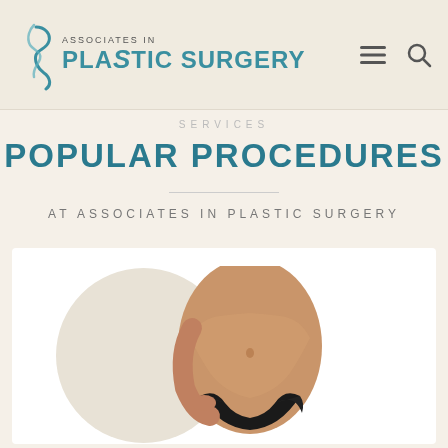[Figure (logo): Associates in Plastic Surgery logo with stylized S figure and teal text]
[Figure (other): Hamburger menu icon and search icon in header]
SERVICES
POPULAR PROCEDURES
AT ASSOCIATES IN PLASTIC SURGERY
[Figure (photo): Circular cropped photo of female torso/midsection in black bikini bottom against white background, on white card]